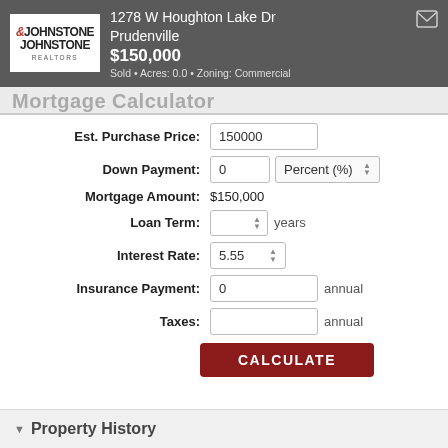1278 W Houghton Lake Dr Prudenville $150,000 Sold • Acres: 0.0 • Zoning: Commercial
Mortgage Calculator
Est. Purchase Price: 150000
Down Payment: 0 Percent (%)
Mortgage Amount: $150,000
Loan Term: years
Interest Rate: 5.55
Insurance Payment: 0 annual
Taxes: annual
CALCULATE
Property History